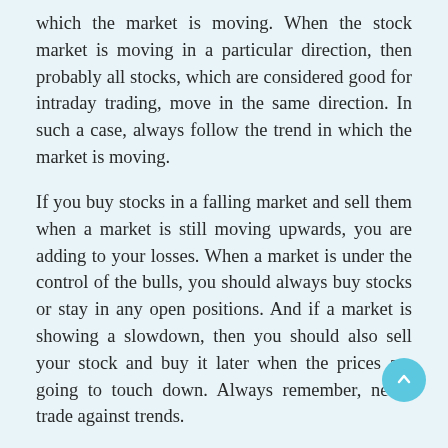which the market is moving. When the stock market is moving in a particular direction, then probably all stocks, which are considered good for intraday trading, move in the same direction. In such a case, always follow the trend in which the market is moving.
If you buy stocks in a falling market and sell them when a market is still moving upwards, you are adding to your losses. When a market is under the control of the bulls, you should always buy stocks or stay in any open positions. And if a market is showing a slowdown, then you should also sell your stock and buy it later when the prices are going to touch down. Always remember, never trade against trends.
Stock Market Tips for Intraday and Long-term.
5. Don't Too much panic in the market